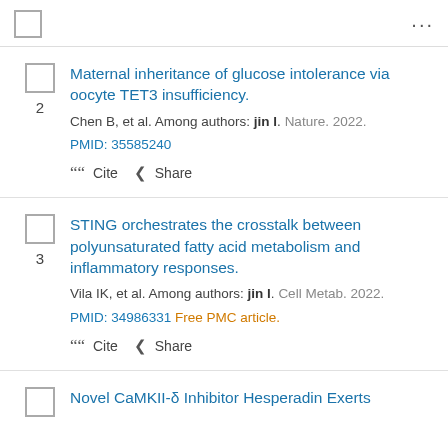... (menu header with checkbox and dots)
2. Maternal inheritance of glucose intolerance via oocyte TET3 insufficiency. Chen B, et al. Among authors: jin l. Nature. 2022. PMID: 35585240
3. STING orchestrates the crosstalk between polyunsaturated fatty acid metabolism and inflammatory responses. Vila IK, et al. Among authors: jin l. Cell Metab. 2022. PMID: 34986331 Free PMC article.
Novel CaMKII-δ Inhibitor Hesperadin Exerts